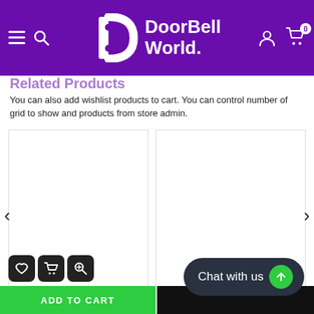[Figure (screenshot): DoorBell World website header with purple background, hamburger menu, search icon, DoorBell World logo, account icon, and cart icon with badge showing 0]
Related Products
You can also add wishlist products to cart. You can control number of grid to show and products from store admin.
[Figure (screenshot): Two white product card placeholders side by side with navigation arrows, action icon buttons (heart, cart, zoom), an Add to Cart green button, and a Chat with us button]
ADD TO CART
Chat with us